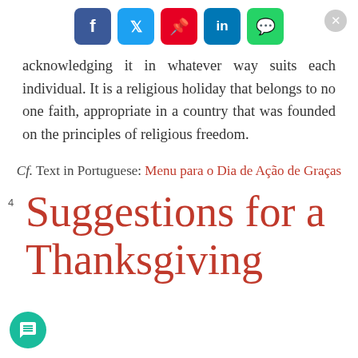[Figure (infographic): Social media share buttons: Facebook (blue), Twitter (cyan), Pinterest (red), LinkedIn (blue), WhatsApp (green), and a close button (grey circle with X)]
acknowledging it in whatever way suits each individual. It is a religious holiday that belongs to no one faith, appropriate in a country that was founded on the principles of religious freedom.
Cf. Text in Portuguese: Menu para o Dia de Ação de Graças
4 Suggestions for a Thanksgiving